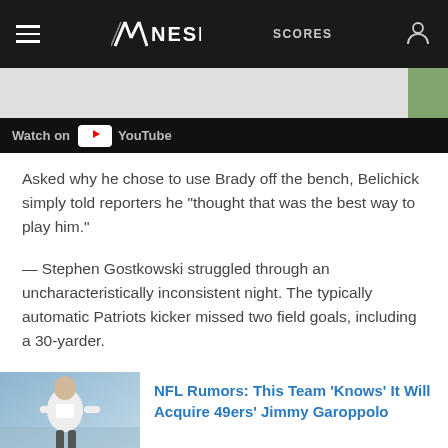NESN | SCORES
[Figure (screenshot): Video player strip showing 'Watch on YouTube' bar at bottom]
Asked why he chose to use Brady off the bench, Belichick simply told reporters he “thought that was the best way to play him.”
— Stephen Gostkowski struggled through an uncharacteristically inconsistent night. The typically automatic Patriots kicker missed two field goals, including a 30-yarder.
[Figure (photo): Photo of a football player (Jimmy Garoppolo) in white jersey]
NFL Rumors: This Team 'Knows' It Will Acquire 49ers' Jimmy Garoppolo